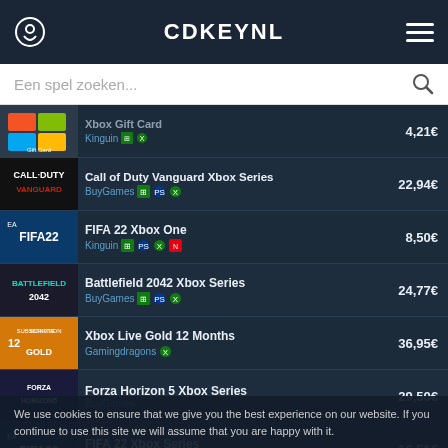CDKEYNL
Een spel zoeken...
Xbox Gift Card | Kinguin | 4,21€
Call of Duty Vanguard Xbox Series | BuyGames | 22,94€
FIFA 22 Xbox One | Kinguin | 8,50€
Battlefield 2042 Xbox Series | BuyGames | 24,77€
Xbox Live Gold 12 Months | Gamingdragons | 36,95€
Forza Horizon 5 Xbox Series | BuyGames | 29,50€
FIFA 22 Xbox Series | BuyGames | 16,51€
Red Dead Redemption 2 Xbox | BuyGames
We use cookies to ensure that we give you the best experience on our website. If you continue to use this site we will assume that you are happy with it.
Ok | Read more
? Hulp